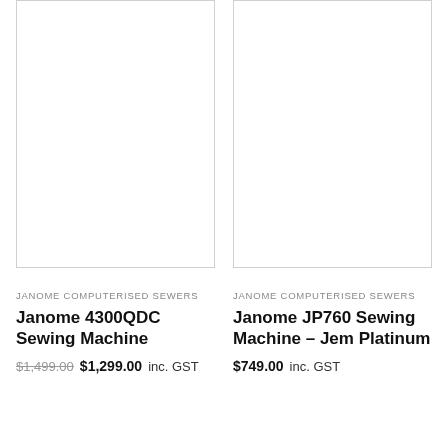[Figure (photo): White empty product image placeholder box with thin gray border for Janome 4300QDC Sewing Machine]
JANOME COMPUTERISED SEWERS
Janome 4300QDC Sewing Machine
$1,499.00 $1,299.00 inc. GST
[Figure (photo): White empty product image placeholder box with thin gray border for Janome JP760 Sewing Machine – Jem Platinum]
JANOME COMPUTERISED SEWERS
Janome JP760 Sewing Machine – Jem Platinum
$749.00 inc. GST